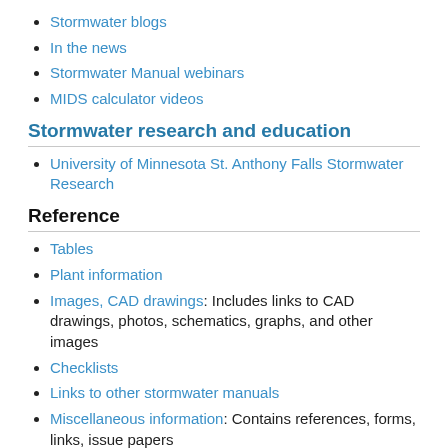Stormwater blogs
In the news
Stormwater Manual webinars
MIDS calculator videos
Stormwater research and education
University of Minnesota St. Anthony Falls Stormwater Research
Reference
Tables
Plant information
Images, CAD drawings: Includes links to CAD drawings, photos, schematics, graphs, and other images
Checklists
Links to other stormwater manuals
Miscellaneous information: Contains references, forms, links, issue papers
Acronyms
Symbols